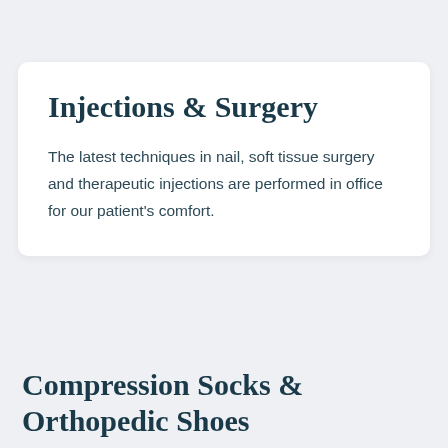Injections & Surgery
The latest techniques in nail, soft tissue surgery and therapeutic injections are performed in office for our patient's comfort.
Compression Socks & Orthopedic Shoes